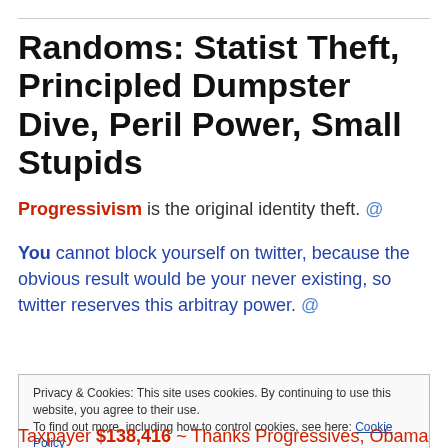Randoms: Statist Theft, Principled Dumpster Dive, Peril Power, Small Stupids
Progressivism is the original identity theft. @
You cannot block yourself on twitter, because the obvious result would be your never existing, so twitter reserves this arbitray power. @
Privacy & Cookies: This site uses cookies. By continuing to use this website, you agree to their use.
To find out more, including how to control cookies, see here: Cookie Policy
Close and accept
Taxpayer $138,416 ~ Thanks Progressives, Obama